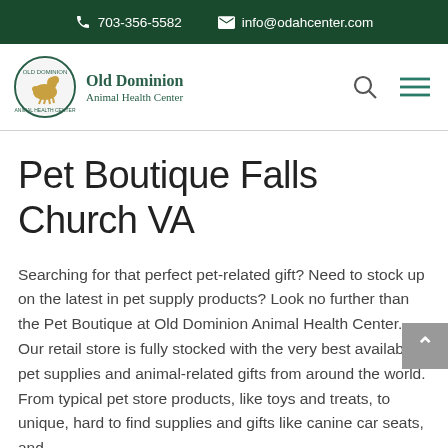703-356-5582   info@odahcenter.com
[Figure (logo): Old Dominion Animal Health Center circular logo with a dog silhouette, alongside the text 'Old Dominion Animal Health Center']
Pet Boutique Falls Church VA
Searching for that perfect pet-related gift? Need to stock up on the latest in pet supply products? Look no further than the Pet Boutique at Old Dominion Animal Health Center. Our retail store is fully stocked with the very best available pet supplies and animal-related gifts from around the world. From typical pet store products, like toys and treats, to unique, hard to find supplies and gifts like canine car seats, and